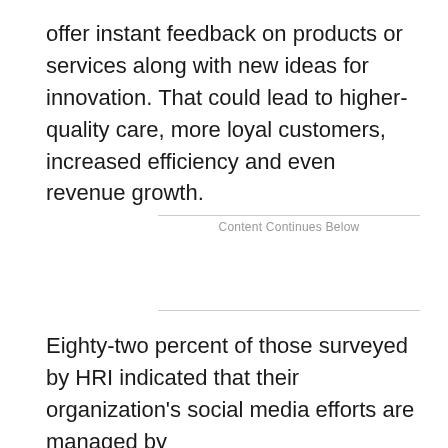offer instant feedback on products or services along with new ideas for innovation. That could lead to higher-quality care, more loyal customers, increased efficiency and even revenue growth.
Content Continues Below
Eighty-two percent of those surveyed by HRI indicated that their organization's social media efforts are managed by marketing/communications employees. The PwC report also said few organizations indicated that their IT departments and digital